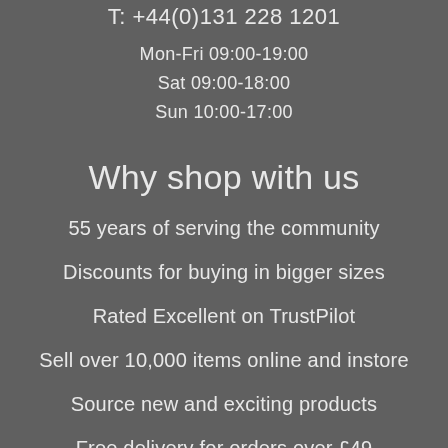T: +44(0)131 228 1201
Mon-Fri 09:00-19:00
Sat 09:00-18:00
Sun 10:00-17:00
Why shop with us
55 years of serving the community
Discounts for buying in bigger sizes
Rated Excellent on TrustPilot
Sell over 10,000 items online and instore
Source new and exciting products
Free delivery for orders over £49